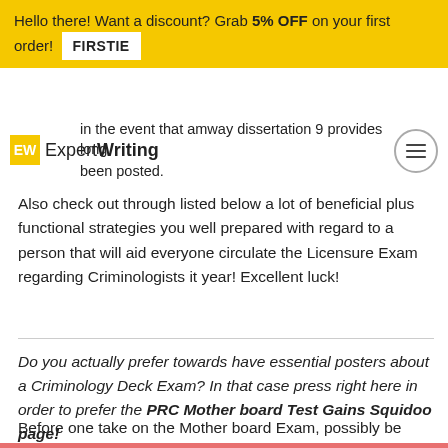Hello there! Want a discount? Grab 5% OFF on your first order! FIRSTIE
[Figure (logo): ExpertWriting logo with yellow EW square and hamburger menu button]
in the event that amway dissertation 9 provides long been posted.
Also check out through listed below a lot of beneficial plus functional strategies you well prepared with regard to a person that will aid everyone circulate the Licensure Exam regarding Criminologists it year! Excellent luck!
Do you actually prefer towards have essential posters about a Criminology Deck Exam? In that case press right here in order to prefer the PRC Mother board Test Gains Squidoo page!
Before one take on the Mother board Exam, possibly be advised approximately this sticking with valuable information — which includes quiz agenda, apparel